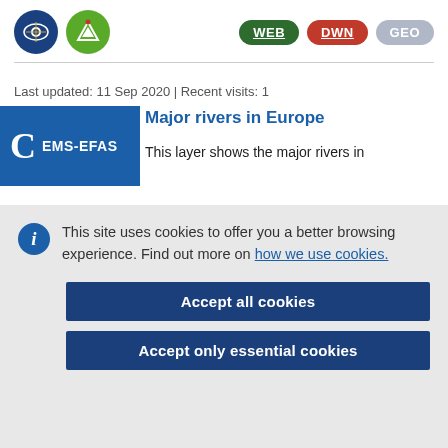[Figure (logo): Blue circle logo with eye/map icon and green circle logo with navigation/compass icon]
[Figure (logo): WEB button (dark green), DWN button (red), GEO button (grey-blue) — pill-shaped navigation buttons]
Last updated: 11 Sep 2020 | Recent visits: 1
[Figure (logo): Blue rectangle with large C and EMS-EFAS text in white]
Major rivers in Europe
This layer shows the major rivers in
This site uses cookies to offer you a better browsing experience. Find out more on how we use cookies.
Accept all cookies
Accept only essential cookies